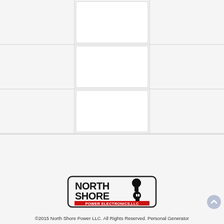[Figure (screenshot): A 3x3 product image grid layout with white center cells and light gray surrounding cells, separated by thin gray borders. The grid has 3 rows and 3 columns with the center column cells appearing as white boxes (product image placeholders).]
[Figure (logo): North Shore Power Electronics, LLC logo. Black bold text reading NORTH SHORE with a power plug icon, and red text reading POWER ELECTRONICS,LLC below, all enclosed in a rounded rectangle border.]
©2015 North Shore Power LLC. All Rights Reserved. Personal Generator